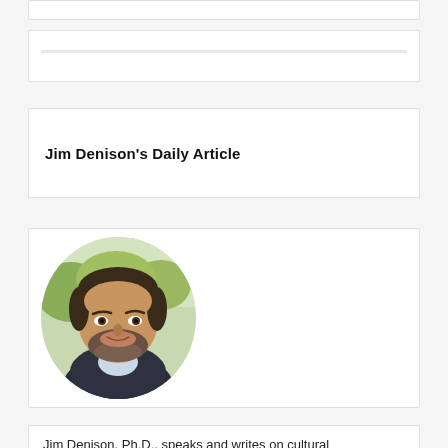Jim Denison's Daily Article
[Figure (photo): Circular portrait photo of Jim Denison, a man with brown hair and a beard wearing a dark blazer, photographed outdoors with green trees in background]
Jim Denison, Ph.D., speaks and writes on cultural and contemporary issues. He produces a daily